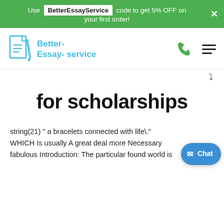Use BetterEssayService code to get 5% OFF on your first order!
[Figure (logo): Better-Essay-service logo with document and pen icon in light blue, phone icon in green, and hamburger menu icon]
for scholarships
string(21) " a bracelets connected with life\."
WHICH Is usually A great deal more Necessary fabulous Introduction: The particular found world is